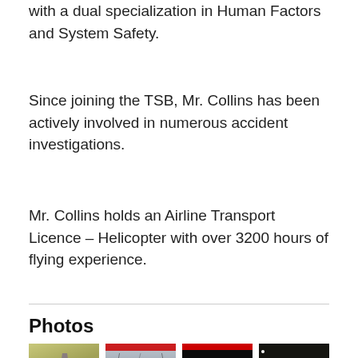with a dual specialization in Human Factors and System Safety.
Since joining the TSB, Mr. Collins has been actively involved in numerous accident investigations.
Mr. Collins holds an Airline Transport Licence – Helicopter with over 3200 hours of flying experience.
Photos
[Figure (photo): Four thumbnail photos in a row: (1) field/grass scene with silhouette, (2) grey interior scene with cables/wires and red bar at top, (3) black/dark screen with red data bar at top, (4) dark overhead view with yellow markings and white dot]